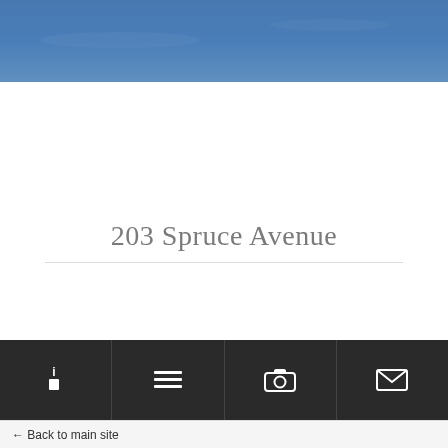[Figure (photo): Blue sky photograph used as a header banner image]
203 Spruce Avenue
[Figure (infographic): Dark toolbar with four icon buttons: info (i), list, camera, and envelope/mail icons]
← Back to main site